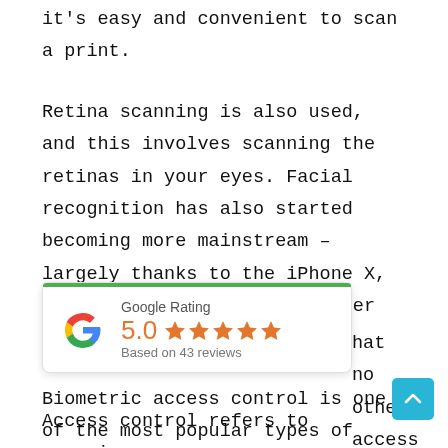it's easy and convenient to scan a print.
Retina scanning is also used, and this involves scanning the retinas in your eyes. Facial recognition has also started becoming more mainstream – largely thanks to the iPhone X, introducing it to the consumer market in 2018.
Biometric access control is one of the most popular types of security systems on the market. For a good reason: it combines security
[Figure (infographic): Google Rating widget with green top bar, Google 'G' logo, score of 5.0, five orange stars, and 'Based on 43 reviews' text]
hat no other access
Access control refers to managing an access